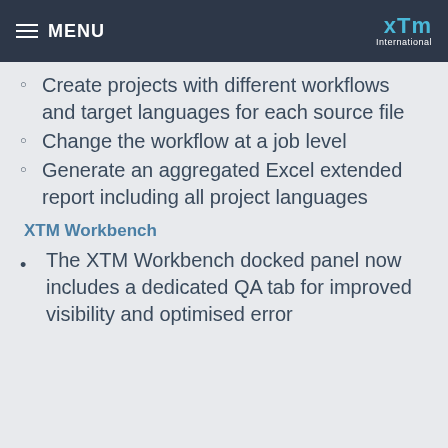MENU | XTM International
Create projects with different workflows and target languages for each source file
Change the workflow at a job level
Generate an aggregated Excel extended report including all project languages
XTM Workbench
The XTM Workbench docked panel now includes a dedicated QA tab for improved visibility and optimised error